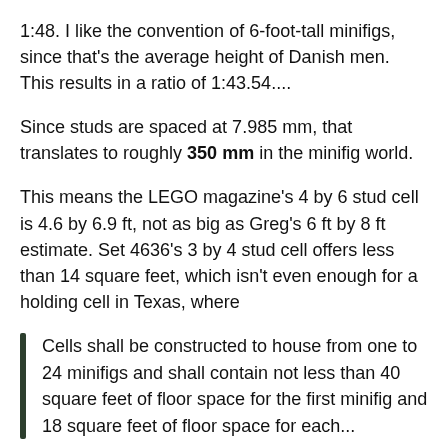1:48. I like the convention of 6-foot-tall minifigs, since that's the average height of Danish men. This results in a ratio of 1:43.54....
Since studs are spaced at 7.985 mm, that translates to roughly 350 mm in the minifig world.
This means the LEGO magazine's 4 by 6 stud cell is 4.6 by 6.9 ft, not as big as Greg's 6 ft by 8 ft estimate. Set 4636's 3 by 4 stud cell offers less than 14 square feet, which isn't even enough for a holding cell in Texas, where
Cells shall be constructed to house from one to 24 minifigs and shall contain not less than 40 square feet of floor space for the first minifig and 18 square feet of floor space for each...